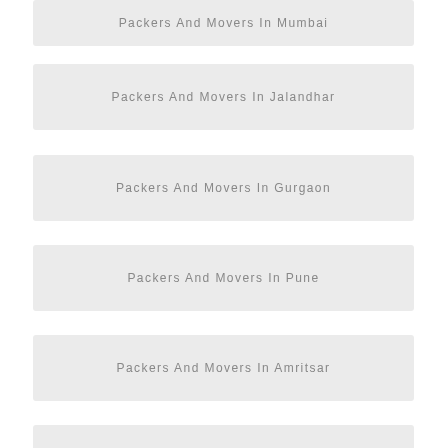Packers And Movers In Mumbai
Packers And Movers In Jalandhar
Packers And Movers In Gurgaon
Packers And Movers In Pune
Packers And Movers In Amritsar
Packers And Movers In Faridabad
Packers And Movers In Chandigarh
Packers And Movers In Ghaziabad